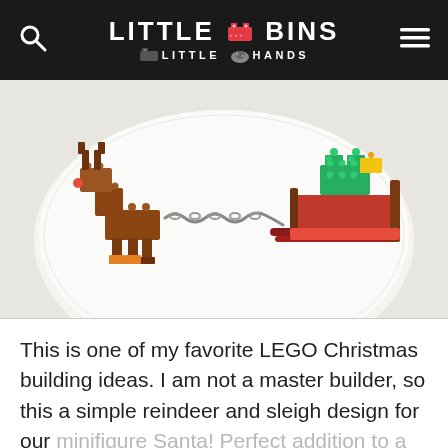LITTLE BINS LITTLE HANDS
[Figure (photo): A LEGO reindeer and sleigh build on a white surface. The reindeer is made of brown LEGO bricks with a red nose, connected by a chain to a red and brown sleigh with green and yellow LEGO bricks on top.]
This is one of my favorite LEGO Christmas building ideas. I am not a master builder, so this a simple reindeer and sleigh design for our minifigure Santa! Perfect addition to a LEGO Advent Calendar!